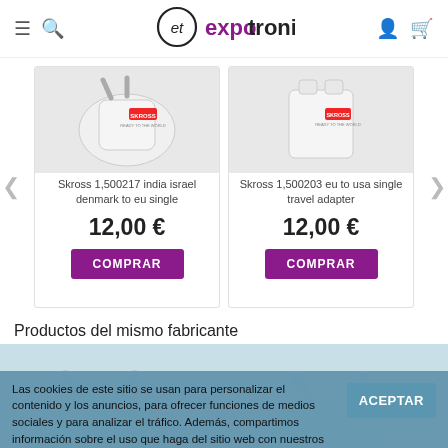expotronica
[Figure (photo): Skross travel adapter plug - india israel denmark to eu single]
Skross 1,500217 india israel denmark to eu single
12,00 €
COMPRAR
[Figure (photo): Skross travel adapter plug - eu to usa single travel adapter]
Skross 1,500203 eu to usa single travel adapter
12,00 €
COMPRAR
Productos del mismo fabricante
Las cookies de este sitio se usan para personalizar el contenido y los anuncios, para ofrecer funciones de medios sociales y para analizar el tráfico. Además, compartimos información sobre el uso que haga del sitio web con nuestros partners de medios sociales, de publicidad y de análisis web.
ACEPTAR